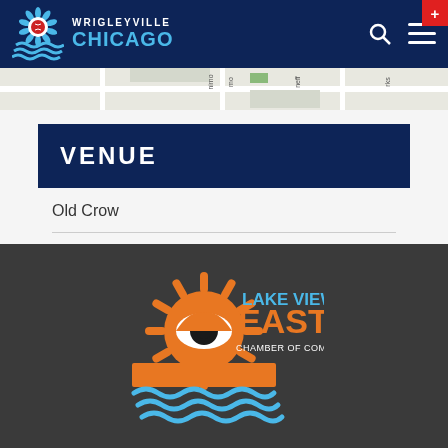Wrigleyville Chicago
[Figure (map): Partial street map of Wrigleyville area showing street names]
VENUE
Old Crow
3506 N Clark St
Chicago, IL 60657 United States
+ Google Map
[Figure (logo): Lake View East Chamber of Commerce logo with orange sunburst eye design and blue wave, with text LAKE VIEW EAST CHAMBER OF COMMERCE]